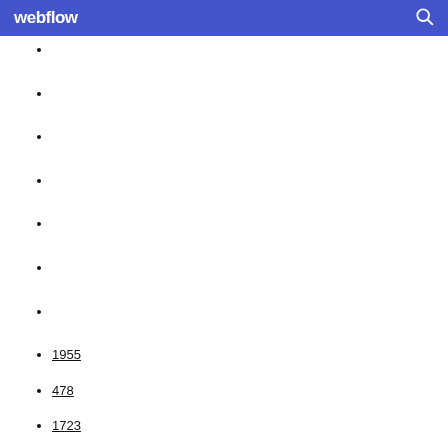webflow
1955
478
1723
577
719
1997